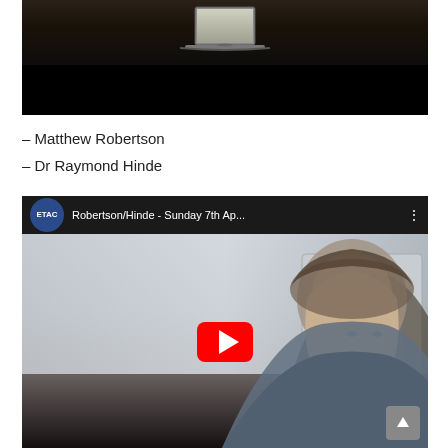[Figure (screenshot): Top portion of a video player showing a person with a laptop, dark background below]
– Matthew Robertson
– Dr Raymond Hinde
[Figure (screenshot): YouTube video embed with ETAC logo thumbnail showing Robertson/Hinde - Sunday 7th Ap... with a man with long grey hair and a red YouTube play button overlay]